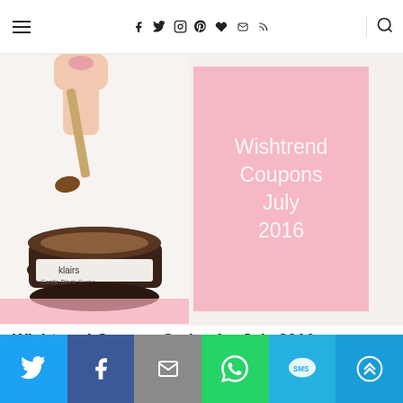Navigation bar with hamburger menu, social icons (facebook, twitter, instagram, pinterest, heart, email, rss), and search icon
[Figure (photo): Product photo: hand holding a wooden spatula with brown sugar scrub over an open amber jar of Klairs Gentle Black Sugar product, with a pink card reading 'Wishtrend Coupons July 2016' on the right side]
Wishtrend Coupon Codes for July 2016
6. July 2016
Social share bar: Twitter, Facebook, Email, WhatsApp, SMS, More